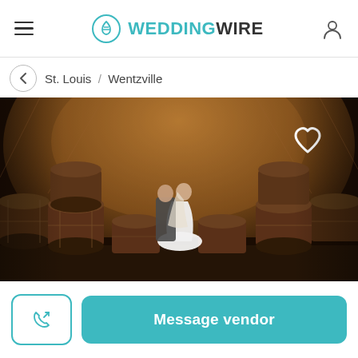WEDDINGWIRE
St. Louis / Wentzville
[Figure (photo): A couple kissing in a winery cellar surrounded by large wooden wine barrels, with a stone arched ceiling in the background. A white heart icon is visible in the upper right corner of the photo.]
Message vendor